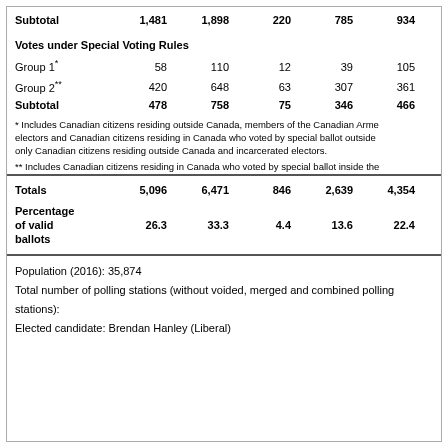|  | Col1 | Col2 | Col3 | Col4 | Col5 |
| --- | --- | --- | --- | --- | --- |
| Subtotal | 1,481 | 1,898 | 220 | 785 | 934 |
| Votes under Special Voting Rules |  |  |  |  |  |
| Group 1* | 58 | 110 | 12 | 39 | 105 |
| Group 2** | 420 | 648 | 63 | 307 | 361 |
| Subtotal | 478 | 758 | 75 | 346 | 466 |
| Totals | 5,096 | 6,471 | 846 | 2,639 | 4,354 |
| Percentage of valid ballots | 26.3 | 33.3 | 4.4 | 13.6 | 22.4 |
* Includes Canadian citizens residing outside Canada, members of the Canadian Armed Forces electors and Canadian citizens residing in Canada who voted by special ballot outside only Canadian citizens residing outside Canada and incarcerated electors.
** Includes Canadian citizens residing in Canada who voted by special ballot inside the
Population (2016): 35,874
Total number of polling stations (without voided, merged and combined polling stations):
Elected candidate: Brendan Hanley (Liberal)